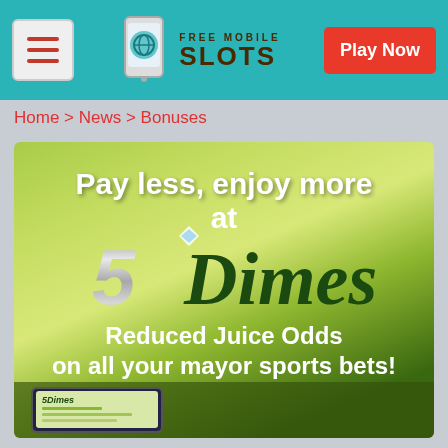Free Mobile Slots — Play Now
Home > News > Bonuses
[Figure (infographic): Promotional banner for 5Dimes sportsbook with olive/green gradient background. Text reads: 'Pay less, enjoy more at 5Dimes – Reduced Juice Odds on all your mayor sports bets!' with a tablet device showing the 5Dimes website at the bottom.]